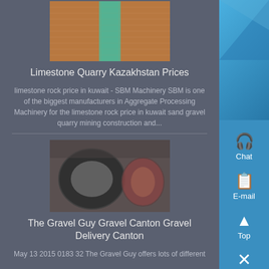[Figure (photo): Industrial mesh/screen material viewed from above with a blue conveyor or channel running through the center]
Limestone Quarry Kazakhstan Prices
limestone rock price in kuwait - SBM Machinery SBM is one of the biggest manufacturers in Aggregate Processing Machinery for the limestone rock price in kuwait sand gravel quarry mining construction and...
[Figure (photo): Industrial machinery parts - large metal rings or crusher bowls in a workshop setting]
The Gravel Guy Gravel Canton Gravel Delivery Canton
May 13 2015 0183 32 The Gravel Guy offers lots of different